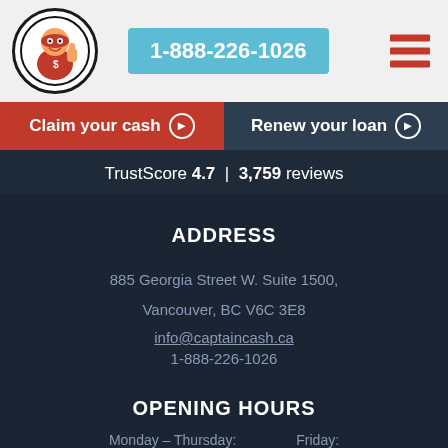[Figure (logo): Captain Cash mascot logo - red superhero character in a circle]
1-888-226-1026
[Figure (other): Hamburger menu icon with three red horizontal bars]
Claim your cash ▶
Renew your loan ▶
TrustScore 4.7 | 3,759 reviews
ADDRESS
885 Georgia Street W. Suite 1500,
Vancouver, BC V6C 3E8
info@captaincash.ca
1-888-226-1026
OPENING HOURS
Monday – Thursday:
Friday: